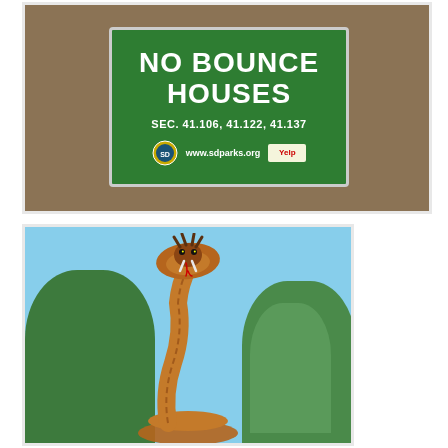[Figure (photo): A green 'No Bounce Houses' regulation sign posted on a brown wooden board. The sign reads 'NO BOUNCE HOUSES' in large white bold letters, 'SEC. 41.106, 41.122, 41.137' in smaller white text, and 'www.sdparks.org' with a city of San Diego logo and a Yelp badge.]
[Figure (photo): A large cobra snake statue with its hood spread, rising up among green trees against a blue sky background.]